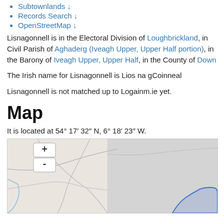Subtownlands ↓
Records Search ↓
OpenStreetMap ↓
Lisnagonnell is in the Electoral Division of Loughbrickland, in Civil Parish of Aghaderg (Iveagh Upper, Upper Half portion), in the Barony of Iveagh Upper, Upper Half, in the County of Down
The Irish name for Lisnagonnell is Lios na gCoinneal
Lisnagonnell is not matched up to Logainm.ie yet.
Map
It is located at 54° 17′ 32″ N, 6° 18′ 23″ W.
[Figure (map): OpenStreetMap showing Lisnagonnell area with roads, terrain, and a blue outlined region in the lower right. Map has + and - zoom controls on the left side. Left half shows light beige/grey land with road lines; right half shows grey background with a blue outlined and light blue filled area in the lower right corner.]